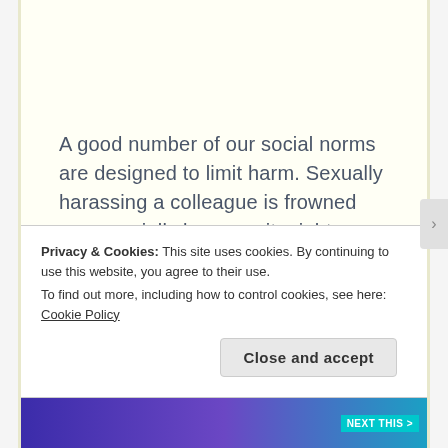A good number of our social norms are designed to limit harm. Sexually harassing a colleague is frowned upon socially because it might negatively affect the victim's professional and personal life. Having sex with an underage child is frowned upon socially because the underdeveloped brain and body of the child may not be able to cope with or
Privacy & Cookies: This site uses cookies. By continuing to use this website, you agree to their use.
To find out more, including how to control cookies, see here: Cookie Policy
Close and accept